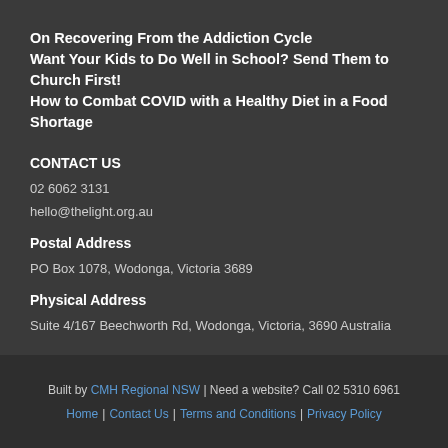On Recovering From the Addiction Cycle
Want Your Kids to Do Well in School? Send Them to Church First!
How to Combat COVID with a Healthy Diet in a Food Shortage
CONTACT US
02 6062 3131
hello@thelight.org.au
Postal Address
PO Box 1078, Wodonga, Victoria 3689
Physical Address
Suite 4/167 Beechworth Rd, Wodonga, Victoria, 3690 Australia
Built by CMH Regional NSW | Need a website? Call 02 5310 6961
Home | Contact Us | Terms and Conditions | Privacy Policy